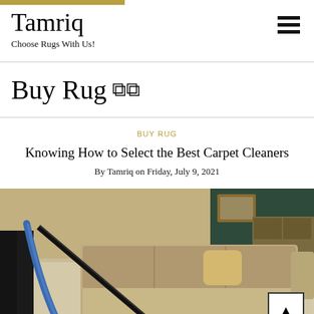Tamriq – Choose Rugs With Us!
Buy Rug
BUY RUG
Knowing How to Select the Best Carpet Cleaners
By Tamriq on Friday, July 9, 2021
[Figure (photo): A person in dark pants using a professional carpet cleaning machine with a blue hose on a light beige carpet, with a tan sofa visible in the background.]